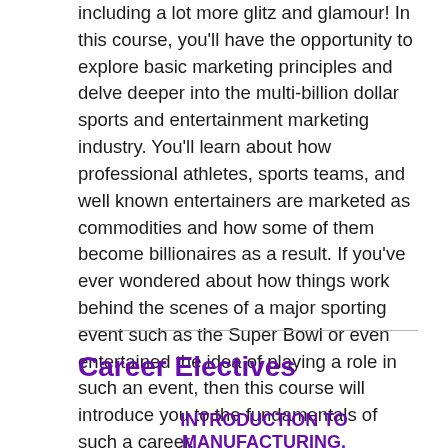including a lot more glitz and glamour! In this course, you'll have the opportunity to explore basic marketing principles and delve deeper into the multi-billion dollar sports and entertainment marketing industry. You'll learn about how professional athletes, sports teams, and well known entertainers are marketed as commodities and how some of them become billionaires as a result. If you've ever wondered about how things work behind the scenes of a major sporting event such as the Super Bowl or even entertained the idea of playing a role in such an event, then this course will introduce you to the fundamentals of such a career.
Career Electives
INTRODUCTION TO MANUFACTURING.